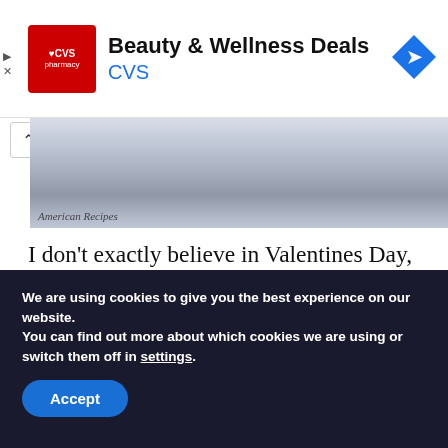[Figure (screenshot): CVS Pharmacy advertisement banner with red CVS logo, 'Beauty & Wellness Deals' text, and a blue navigation arrow icon]
[Figure (photo): Partial image of a book or cookbook showing 'American Recipes' text on a gray/blue textured surface]
I don't exactly believe in Valentines Day, because I feel as if you should show your partner how much you love them year around. But, it's hard to hate a holiday based around my favorite food group, chocolate. And yes, chocolate is totally a food
We are using cookies to give you the best experience on our website.
You can find out more about which cookies we are using or switch them off in settings.
Accept